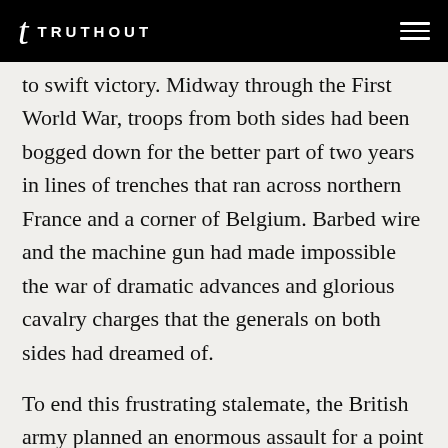TRUTHOUT
to swift victory. Midway through the First World War, troops from both sides had been bogged down for the better part of two years in lines of trenches that ran across northern France and a corner of Belgium. Barbed wire and the machine gun had made impossible the war of dramatic advances and glorious cavalry charges that the generals on both sides had dreamed of.
To end this frustrating stalemate, the British army planned an enormous assault for a point near where the River Somme meandered its